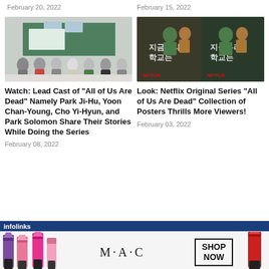February 20, 2022
February 15, 2022
[Figure (photo): Group of actors sitting in a classroom setting — cast of All of Us Are Dead]
[Figure (photo): Netflix Original Series All of Us Are Dead poster/promo image with Korean text]
Watch: Lead Cast of "All of Us Are Dead" Namely Park Ji-Hu, Yoon Chan-Young, Cho Yi-Hyun, and Park Solomon Share Their Stories While Doing the Series
February 08, 2022
Look: Netflix Original Series "All of Us Are Dead" Collection of Posters Thrills More Viewers!
February 03, 2022
[Figure (photo): M·A·C cosmetics advertisement with lipsticks and SHOP NOW button]